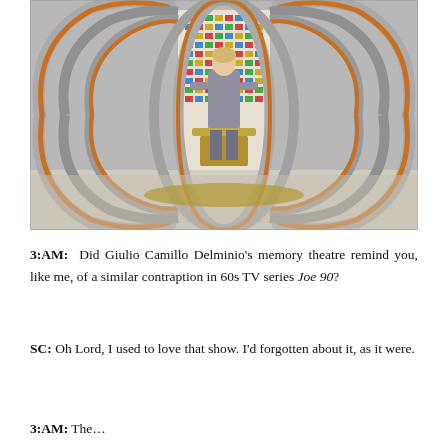[Figure (photo): A vintage color photograph showing a person standing inside a large spherical contraption made of overlapping metallic and orange-brown curved bands or rings, reminiscent of a gyroscope or memory theatre device. There is a panel of colorful buttons/lights visible behind the person. The setting appears to be a futuristic or sci-fi set from a 1960s TV production.]
3:AM: Did Giulio Camillo Delminio's memory theatre remind you, like me, of a similar contraption in 60s TV series Joe 90?
SC: Oh Lord, I used to love that show. I'd forgotten about it, as it were.
3:AM: The...